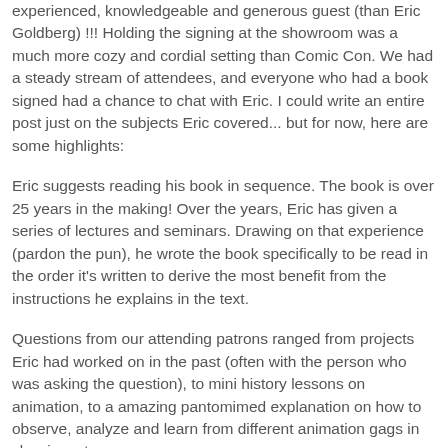experienced, knowledgeable and generous guest (than Eric Goldberg) !!! Holding the signing at the showroom was a much more cozy and cordial setting than Comic Con. We had a steady stream of attendees, and everyone who had a book signed had a chance to chat with Eric. I could write an entire post just on the subjects Eric covered... but for now, here are some highlights:
Eric suggests reading his book in sequence. The book is over 25 years in the making! Over the years, Eric has given a series of lectures and seminars. Drawing on that experience (pardon the pun), he wrote the book specifically to be read in the order it's written to derive the most benefit from the instructions he explains in the text.
Questions from our attending patrons ranged from projects Eric had worked on in the past (often with the person who was asking the question), to mini history lessons on animation, to a amazing pantomimed explanation on how to observe, analyze and learn from different animation gags in classic cartoons.